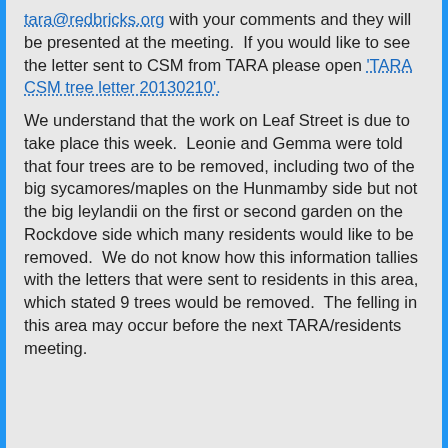tara@redbricks.org with your comments and they will be presented at the meeting.  If you would like to see the letter sent to CSM from TARA please open 'TARA CSM tree letter 20130210'.
We understand that the work on Leaf Street is due to take place this week.  Leonie and Gemma were told that four trees are to be removed, including two of the big sycamores/maples on the Hunmamby side but not the big leylandii on the first or second garden on the Rockdove side which many residents would like to be removed.  We do not know how this information tallies with the letters that were sent to residents in this area, which stated 9 trees would be removed.  The felling in this area may occur before the next TARA/residents meeting.